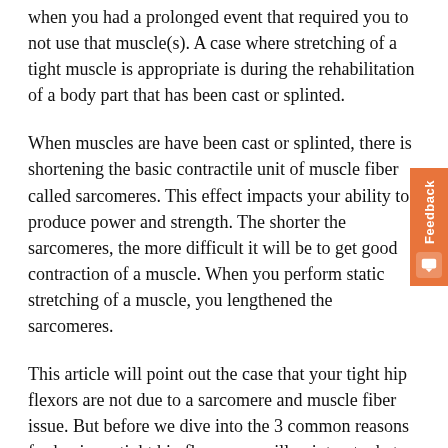when you had a prolonged event that required you to not use that muscle(s). A case where stretching of a tight muscle is appropriate is during the rehabilitation of a body part that has been cast or splinted.
When muscles are have been cast or splinted, there is shortening the basic contractile unit of muscle fiber called sarcomeres. This effect impacts your ability to produce power and strength. The shorter the sarcomeres, the more difficult it will be to get good contraction of a muscle. When you perform static stretching of a muscle, you lengthened the sarcomeres.
This article will point out the case that your tight hip flexors are not due to a sarcomere and muscle fiber issue. But before we dive into the 3 common reasons for having a tight hip flexor, we will point out what a tight